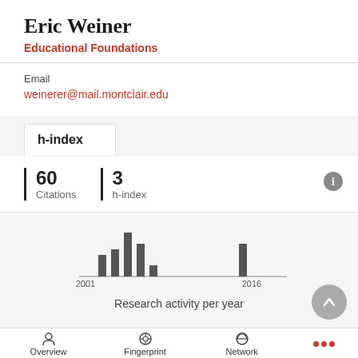Eric Weiner
Educational Foundations
Email
weinerer@mail.montclair.edu
h-index
60 Citations
3 h-index
[Figure (bar-chart): Research activity per year]
Research activity per year
Overview   Fingerprint   Network   ...